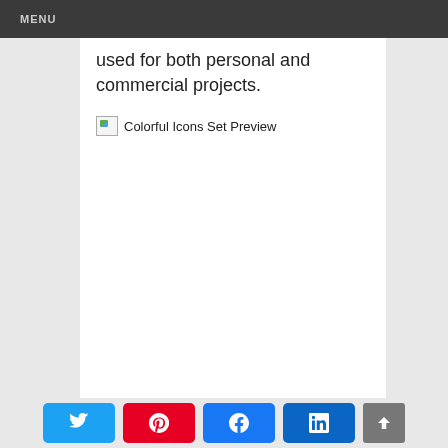MENU
used for both personal and commercial projects.
[Figure (other): Broken image placeholder for 'Colorful Icons Set Preview']
Social share buttons: Twitter, Pinterest, Facebook, LinkedIn; scroll-to-top button